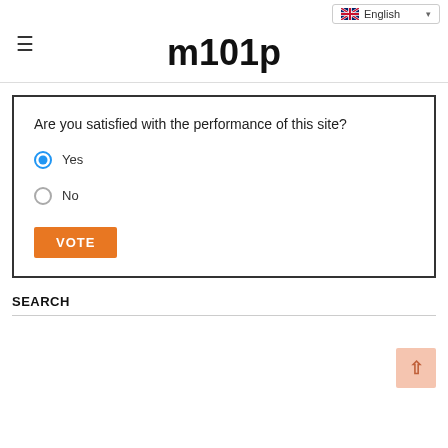English
m101p
Are you satisfied with the performance of this site?
Yes (selected)
No
VOTE
SEARCH